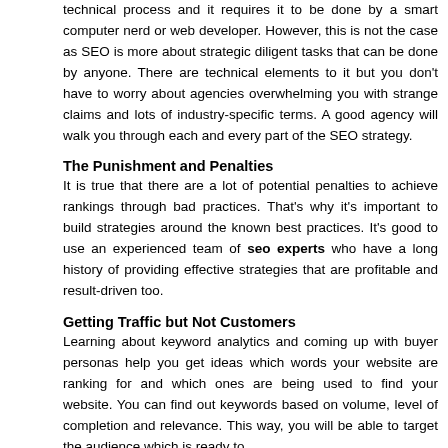technical process and it requires it to be done by a smart computer nerd or web developer. However, this is not the case as SEO is more about strategic diligent tasks that can be done by anyone. There are technical elements to it but you don't have to worry about agencies overwhelming you with strange claims and lots of industry-specific terms. A good agency will walk you through each and every part of the SEO strategy.
The Punishment and Penalties
It is true that there are a lot of potential penalties to achieve rankings through bad practices. That's why it's important to build strategies around the known best practices. It's good to use an experienced team of seo experts who have a long history of providing effective strategies that are profitable and result-driven too.
Getting Traffic but Not Customers
Learning about keyword analytics and coming up with buyer personas help you get ideas which words your website are ranking for and which ones are being used to find your website. You can find out keywords based on volume, level of completion and relevance. This way, you will be able to target the audience which is ready to